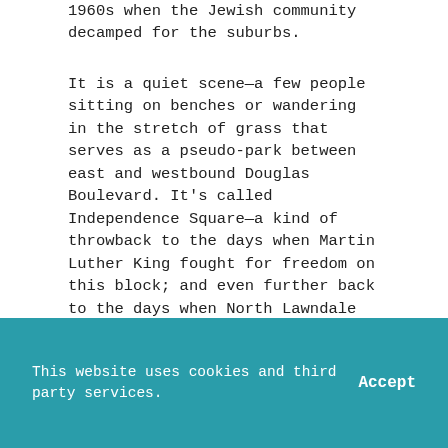1960s when the Jewish community decamped for the suburbs.
It is a quiet scene—a few people sitting on benches or wandering in the stretch of grass that serves as a pseudo-park between east and westbound Douglas Boulevard. It's called Independence Square—a kind of throwback to the days when Martin Luther King fought for freedom on this block; and even further back to the days when North Lawndale was the Little Jerusalem of Chicago, a safe haven for Jews escaping persecution in Europe.
The now primarily Black neighborhood hasn't
This website uses cookies and third party services.  Accept